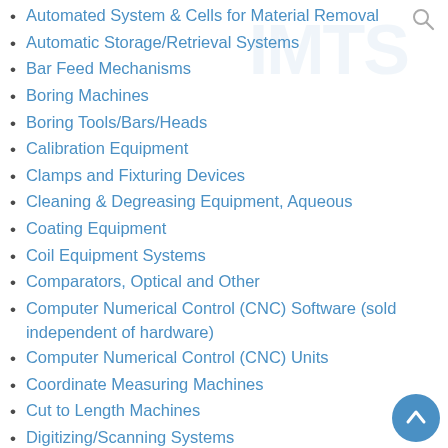Automated System & Cells for Material Removal
Automatic Storage/Retrieval Systems
Bar Feed Mechanisms
Boring Machines
Boring Tools/Bars/Heads
Calibration Equipment
Clamps and Fixturing Devices
Cleaning & Degreasing Equipment, Aqueous
Coating Equipment
Coil Equipment Systems
Comparators, Optical and Other
Computer Numerical Control (CNC) Software (sold independent of hardware)
Computer Numerical Control (CNC) Units
Coordinate Measuring Machines
Cut to Length Machines
Digitizing/Scanning Systems
Drilling and Tapping Machines, CNC
Drilling and Tapping Units, Fixtured
Drilling Machines, Bench and Column
Drilling Machines, Deep Hole (Gundrilling)
Drilling Machines, Radial Arm
EDM, Ram Type (Die-Sinking) CNC